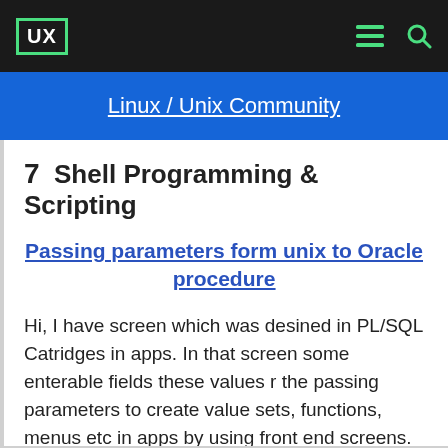UX
Linux / Unix Community
7  Shell Programming & Scripting
Passing parameters form unix to Oracle procedure
Hi, I have screen which was desined in PL/SQL Catridges in apps. In that screen some enterable fields these values r the passing parameters to create value sets, functions, menus etc in apps by using front end screens. Now in that screen i have a button. when i click that button it have to...